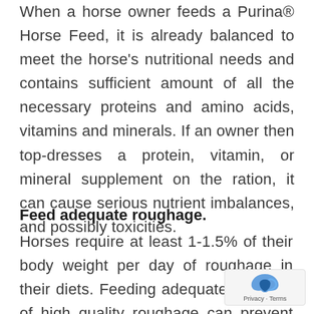When a horse owner feeds a Purina® Horse Feed, it is already balanced to meet the horse's nutritional needs and contains sufficient amount of all the necessary proteins and amino acids, vitamins and minerals. If an owner then top-dresses a protein, vitamin, or mineral supplement on the ration, it can cause serious nutrient imbalances, and possibly toxicities.
Feed adequate roughage.
Horses require at least 1-1.5% of their body weight per day of roughage in their diets. Feeding adequate amounts of high quality roughage can prevent many digestive disturbances as well as behavior problems. When providing a feed such as Equine...